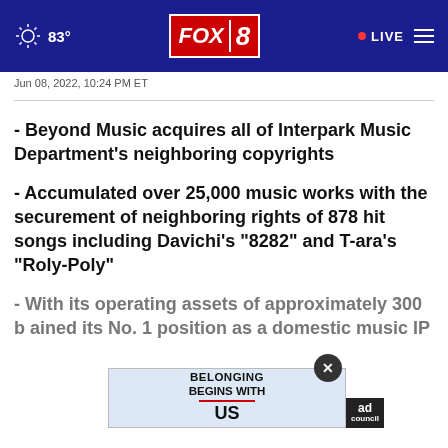FOX 8 | 83° | LIVE
Jun 08, 2022, 10:24 PM ET
- Beyond Music acquires all of Interpark Music Department's neighboring copyrights
- Accumulated over 25,000 music works with the securement of neighboring rights of 878 hit songs including Davichi's "8282" and T-ara's "Roly-Poly"
- With its operating assets of approximately 300 b... ained its No. 1 position as a domestic music IP...
[Figure (other): Ad overlay: BELONGING BEGINS WITH US (Ad Council)]